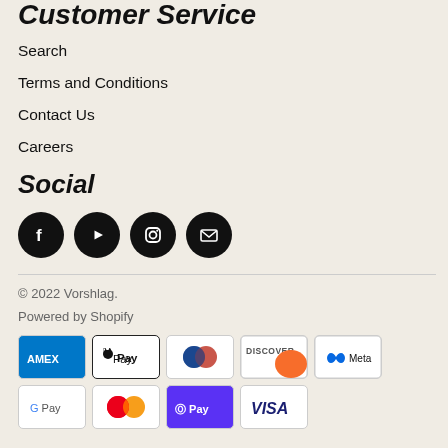Customer Service
Search
Terms and Conditions
Contact Us
Careers
Social
[Figure (infographic): Four social media icon buttons in black circles: Facebook, YouTube, Instagram, Email]
© 2022 Vorshlag.
Powered by Shopify
[Figure (infographic): Payment method logos: AMEX, Apple Pay, Diners Club, Discover, Meta Pay, Google Pay, Mastercard, Shop Pay, Visa]